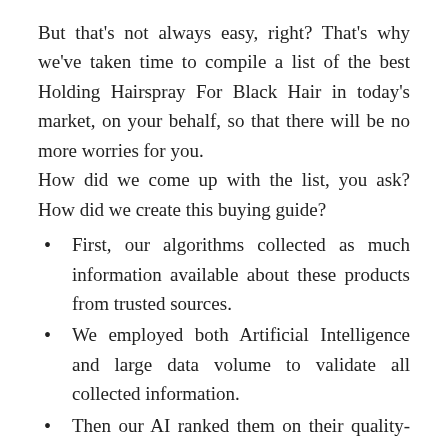But that's not always easy, right? That's why we've taken time to compile a list of the best Holding Hairspray For Black Hair in today's market, on your behalf, so that there will be no more worries for you.
How did we come up with the list, you ask? How did we create this buying guide?
First, our algorithms collected as much information available about these products from trusted sources.
We employed both Artificial Intelligence and large data volume to validate all collected information.
Then our AI ranked them on their quality-to-price ratio using industry-standard criteria that let us pick the best Holding Hairspray For Black Hair on the...